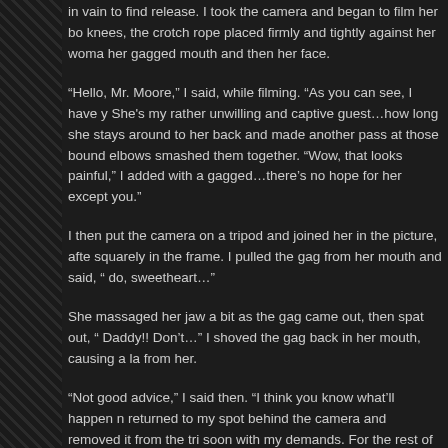in vain to find release.  I took the camera and began to film her bo knees, the crotch rope placed firmly and tightly against her woma her gagged mouth and then her face.
“Hello, Mr. Moore,” I said, while filming.  “As you can see, I have y She's my rather unwilling and captive guest…how long she stays  around to her back and made another pass at those bound elbows smashed them together.  “Wow, that looks painful,” I added with a gagged…there’s no hope for her except you.”
I then put the camera on a tripod and joined her in the picture, afte squarely in the frame.  I pulled the gag from her mouth and said, “ do, sweetheart…”
She massaged her jaw a bit as the gag came out, then spat out, “ Daddy!!  Don’t…” I shoved the gag back in her mouth, causing a la from her.
“Not good advice,” I said then.  “I think you know what’ll happen n returned to my spot behind the camera and removed it from the tri soon with my demands.  For the rest of this tape, why don’t we wa